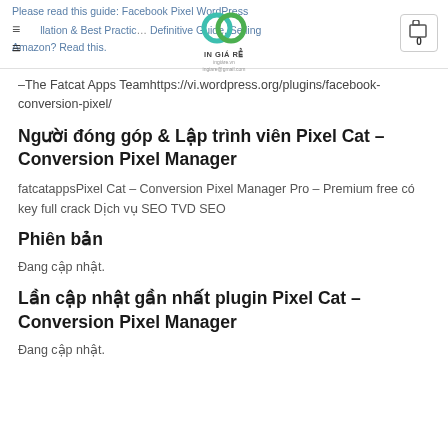Please read this guide: Facebook Pixel WordPress Installation & Best Practices – A Definitive Guide. Selling Amazon? Read this.
–The Fatcat Apps Teamhttps://vi.wordpress.org/plugins/facebook-conversion-pixel/
Người đóng góp & Lập trình viên Pixel Cat – Conversion Pixel Manager
fatcatappsPixel Cat – Conversion Pixel Manager Pro – Premium free có key full crack Dịch vụ SEO TVD SEO
Phiên bản
Đang cập nhật.
Lần cập nhật gần nhất plugin Pixel Cat – Conversion Pixel Manager
Đang cập nhật.